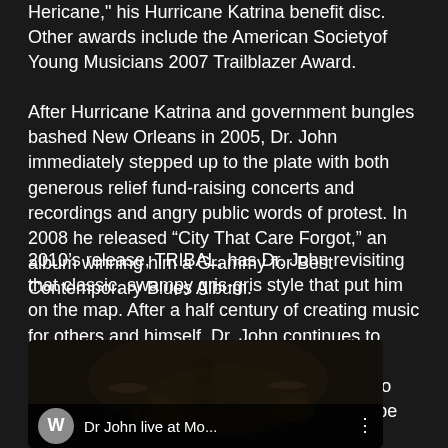Hericane," his Hurricane Katrina benefit disc. Other awards include the American Societyof Young Musicians 2007 Trailblazer Award.
After Hurricane Katrina and government bungles bashed New Orleans in 2005, Dr. John immediately stepped up to the plate with both generous relief fund-raising concerts and recordings and angry public words of protest. In 2008 he released “City That Care Forgot,” an album winning him a Grammy for Best Contemporary Blues Album.
2010’s release, TRIBAL, has Dr. John revisiting that classic, swampy gris-gris style that put him on the map. After a half century of creating music for others and himself, Dr. John continues to write, arrange, produce and interpret with a passion that has yet to wane. He continues to dazzle and delight audiences across the globe touring consistently.
[Figure (screenshot): A video thumbnail showing Dr John live at Mo... with a W avatar circle icon, video title and three-dot menu icon overlaid on a dark concert image with drums visible.]